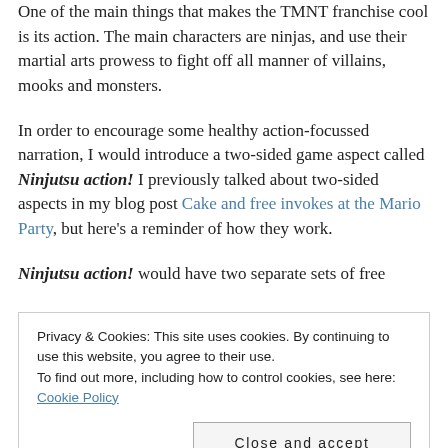One of the main things that makes the TMNT franchise cool is its action. The main characters are ninjas, and use their martial arts prowess to fight off all manner of villains, mooks and monsters.
In order to encourage some healthy action-focussed narration, I would introduce a two-sided game aspect called Ninjutsu action! I previously talked about two-sided aspects in my blog post Cake and free invokes at the Mario Party, but here's a reminder of how they work.
Ninjutsu action! would have two separate sets of free
Privacy & Cookies: This site uses cookies. By continuing to use this website, you agree to their use.
To find out more, including how to control cookies, see here: Cookie Policy
Close and accept